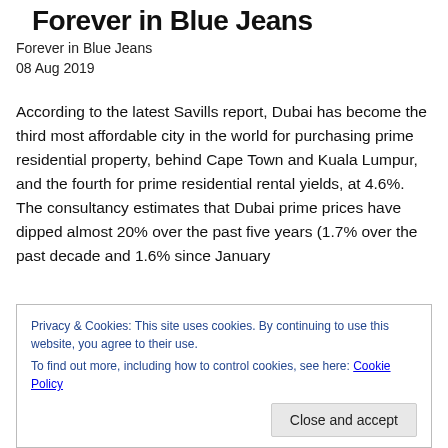Forever in Blue Jeans
Forever in Blue Jeans
08 Aug 2019
According to the latest Savills report, Dubai has become the third most affordable city in the world for purchasing prime residential property, behind Cape Town and Kuala Lumpur, and the fourth for prime residential rental yields, at 4.6%. The consultancy estimates that Dubai prime prices have dipped almost 20% over the past five years (1.7% over the past decade and 1.6% since January
Privacy & Cookies: This site uses cookies. By continuing to use this website, you agree to their use.
To find out more, including how to control cookies, see here: Cookie Policy
Close and accept
registration fees for external vendors and contractors as